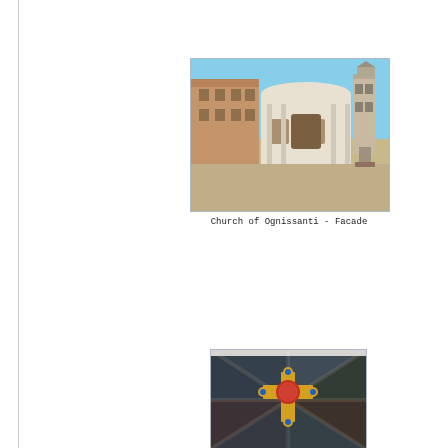[Figure (photo): Exterior facade of the Church of Ognissanti in Florence, Italy. Shows a large piazza in front of the white baroque facade with a bell tower visible to the right, and a multi-story building on the left.]
Church of Ognissanti - Facade
[Figure (photo): Interior ceiling or dome of a church showing a decorative cross with ornate religious imagery, painted vault ribs, and frescoes on a dark background.]